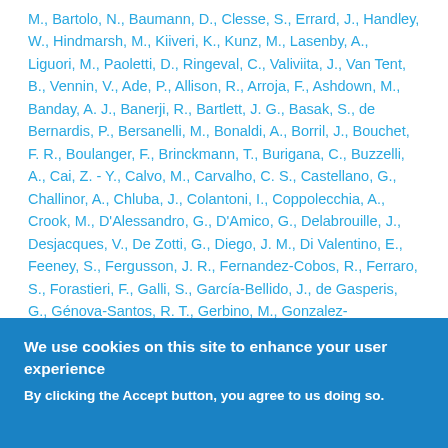M., Bartolo, N., Baumann, D., Clesse, S., Errard, J., Handley, W., Hindmarsh, M., Kiiveri, K., Kunz, M., Lasenby, A., Liguori, M., Paoletti, D., Ringeval, C., Valiviita, J., Van Tent, B., Vennin, V., Ade, P., Allison, R., Arroja, F., Ashdown, M., Banday, A. J., Banerji, R., Bartlett, J. G., Basak, S., de Bernardis, P., Bersanelli, M., Bonaldi, A., Borril, J., Bouchet, F. R., Boulanger, F., Brinckmann, T., Burigana, C., Buzzelli, A., Cai, Z. - Y., Calvo, M., Carvalho, C. S., Castellano, G., Challinor, A., Chluba, J., Colantoni, I., Coppolecchia, A., Crook, M., D'Alessandro, G., D'Amico, G., Delabrouille, J., Desjacques, V., De Zotti, G., Diego, J. M., Di Valentino, E., Feeney, S., Fergusson, J. R., Fernandez-Cobos, R., Ferraro, S., Forastieri, F., Galli, S., García-Bellido, J., de Gasperis, G., Génova-Santos, R. T., Gerbino, M., Gonzalez-
We use cookies on this site to enhance your user experience
By clicking the Accept button, you agree to us doing so.